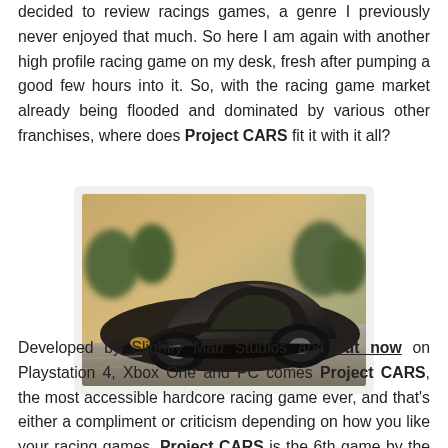decided to review racings games, a genre I previously never enjoyed that much. So here I am again with another high profile racing game on my desk, fresh after pumping a good few hours into it. So, with the racing game market already being flooded and dominated by various other franchises, where does Project CARS fit it with it all?
[Figure (photo): A black supercar (appears to be a Pagani Huayra) photographed in motion on a racetrack, with motion blur on the background suggesting high speed. The car is shot from a low front-side angle.]
Developed by Slightly Mad Studios and out now on Playstation 4, Xbox One and PC comes Project CARS, the most accessible hardcore racing game ever, and that's either a compliment or criticism depending on how you like your racing games. Project CARS is the 6th game by the UK based Slightly Mad Studios, a developer that, so far at least,